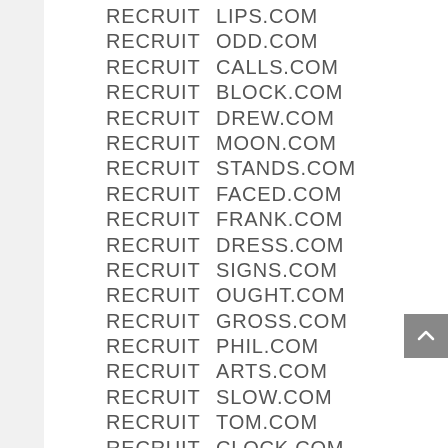RECRUIT  LIPS.COM
RECRUIT  ODD.COM
RECRUIT  CALLS.COM
RECRUIT  BLOCK.COM
RECRUIT  DREW.COM
RECRUIT  MOON.COM
RECRUIT  STANDS.COM
RECRUIT  FACED.COM
RECRUIT  FRANK.COM
RECRUIT  DRESS.COM
RECRUIT  SIGNS.COM
RECRUIT  OUGHT.COM
RECRUIT  GROSS.COM
RECRUIT  PHIL.COM
RECRUIT  ARTS.COM
RECRUIT  SLOW.COM
RECRUIT  TOM.COM
RECRUIT  CLOCK.COM
RECRUIT  PLAYS.COM